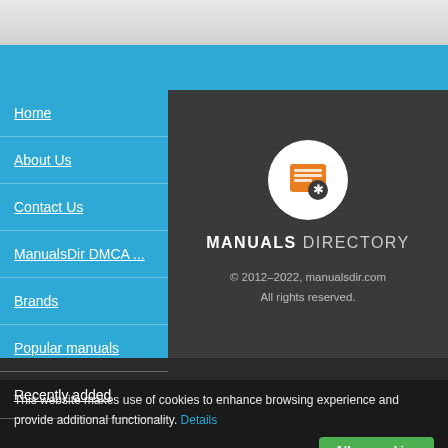Home
About Us
Contact Us
ManualsDir DMCA ...
Brands
Popular manuals
Recently added
[Figure (logo): Manuals Directory logo — orange book icon in white circle]
MANUALS DIRECTORY
© 2012–2022, manualsdir.com
All rights reserved.
This website makes use of cookies to enhance browsing experience and provide additional functionality. Details